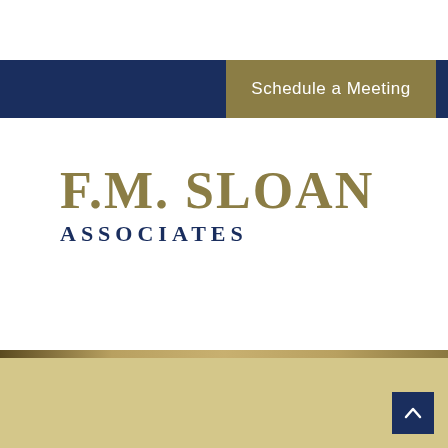Schedule a Meeting
[Figure (logo): F.M. Sloan Associates logo with gold serif text for 'F.M. SLOAN' and navy blue bold text for 'ASSOCIATES']
[Figure (other): Gold/tan footer background area with a navy blue scroll-to-top button containing an upward arrow in the bottom right corner]